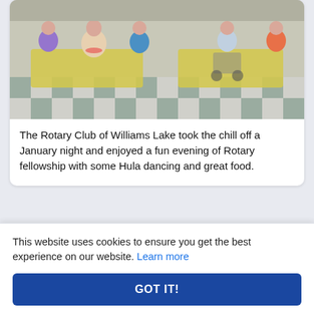[Figure (photo): Group photo of people seated at tables with yellow tablecloths at a Rotary Club dinner event, some wearing leis and colorful shirts. Checkered floor visible, one person in a wheelchair.]
The Rotary Club of Williams Lake took the chill off a January night and enjoyed a fun evening of Rotary fellowship with some Hula dancing and great food.
August 2022
This website uses cookies to ensure you get the best experience on our website. Learn more
GOT IT!